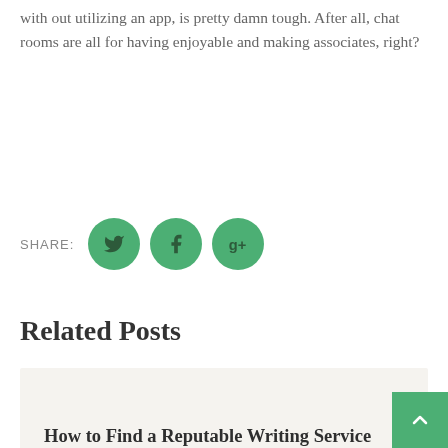with out utilizing an app, is pretty damn tough. After all, chat rooms are all for having enjoyable and making associates, right?
[Figure (infographic): SHARE: label followed by three green circular social media buttons: Twitter bird icon, Facebook f icon, Google+ g+ icon]
Related Posts
How to Find a Reputable Writing Service
How to Use a Lego Cheat Code in SEGLAR Star Battles: The Skywalker Saga